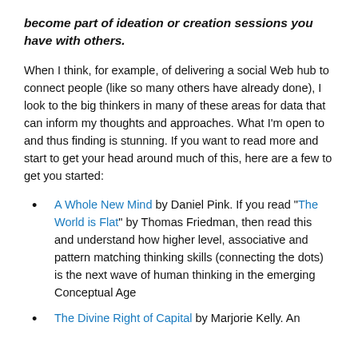become part of ideation or creation sessions you have with others.
When I think, for example, of delivering a social Web hub to connect people (like so many others have already done), I look to the big thinkers in many of these areas for data that can inform my thoughts and approaches. What I'm open to and thus finding is stunning. If you want to read more and start to get your head around much of this, here are a few to get you started:
A Whole New Mind by Daniel Pink. If you read "The World is Flat" by Thomas Friedman, then read this and understand how higher level, associative and pattern matching thinking skills (connecting the dots) is the next wave of human thinking in the emerging Conceptual Age
The Divine Right of Capital by Marjorie Kelly. An